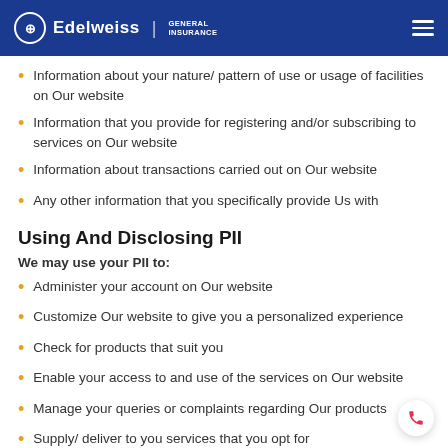Edelweiss | General Insurance
Information about your nature/ pattern of use or usage of facilities on Our website
Information that you provide for registering and/or subscribing to services on Our website
Information about transactions carried out on Our website
Any other information that you specifically provide Us with
Using And Disclosing PII
We may use your PII to:
Administer your account on Our website
Customize Our website to give you a personalized experience
Check for products that suit you
Enable your access to and use of the services on Our website
Manage your queries or complaints regarding Our products
Supply/ deliver to you services that you opt for
Send you statements and invoices
Enable payments to allow purchases